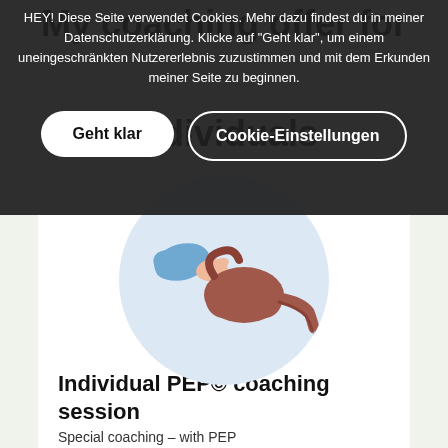My coaching offer for Individuals
HEY! Diese Seite verwendet Cookies. Mehr dazu findest du in meiner Datenschutzerklärung. Klicke auf "Geht klar", um einem uneingeschränkten Nutzererlebnis zuzustimmen und mit dem Erkunden meiner Seite zu beginnen.
Geht klar
Cookie-Einstellungen
[Figure (illustration): Hand holding a brown/mauve watering can, tilted slightly, with a small drop of water. Illustrated in a flat/vector style on a light blue circular background.]
Individual PEP© coaching session
Special coaching – with PEP